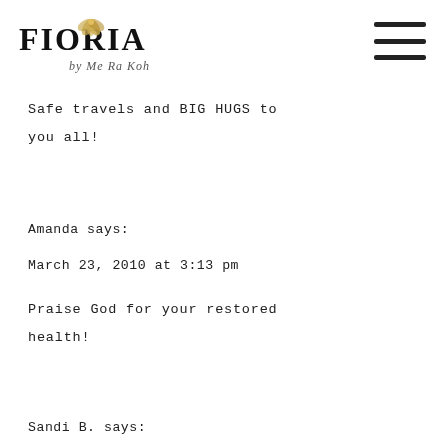[Figure (logo): FIORIA by Me Ra Koh logo with decorative leaf/flower element on the letter O]
Safe travels and BIG HUGS to you all!
Amanda says:
March 23, 2010 at 3:13 pm
Praise God for your restored health!
Sandi B. says: